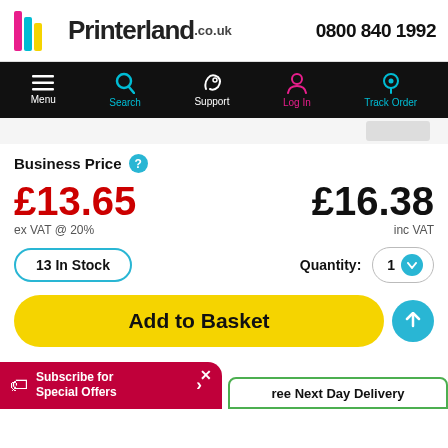[Figure (logo): Printerland.co.uk logo with colourful stripe icon]
0800 840 1992
[Figure (screenshot): Navigation bar with Menu, Search, Support, Log In, Track Order icons on black background]
Business Price
£13.65
ex VAT @ 20%
£16.38
inc VAT
13 In Stock
Quantity: 1
Add to Basket
Subscribe for Special Offers
ree Next Day Delivery